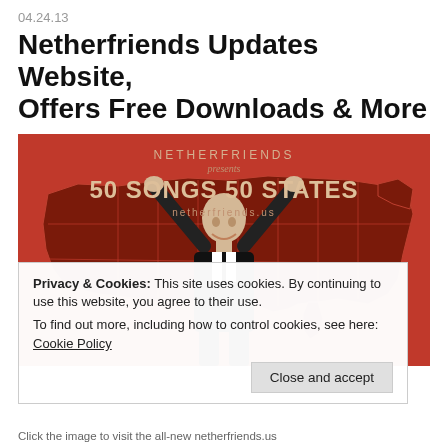04.24.13
Netherfriends Updates Website, Offers Free Downloads & More
[Figure (photo): Promotional image for Netherfriends '50 Songs 50 States' with a person raising both hands in front of a US map silhouette on an orange-red background. Text reads: NETHERFRIENDS presents 50 SONGS 50 STATES netherfriends.us]
Privacy & Cookies: This site uses cookies. By continuing to use this website, you agree to their use.
To find out more, including how to control cookies, see here: Cookie Policy
Click the image to visit the all-new netherfriends.us